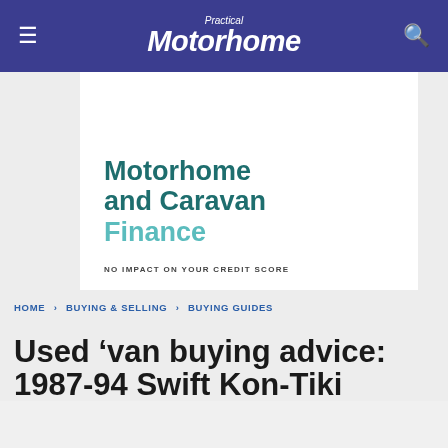Practical Motorhome
[Figure (infographic): Motorhome and Caravan Finance advertisement banner with teal text on white background, stating 'NO IMPACT ON YOUR CREDIT SCORE']
HOME › BUYING & SELLING › BUYING GUIDES
Used 'van buying advice: 1987-94 Swift Kon-Tiki